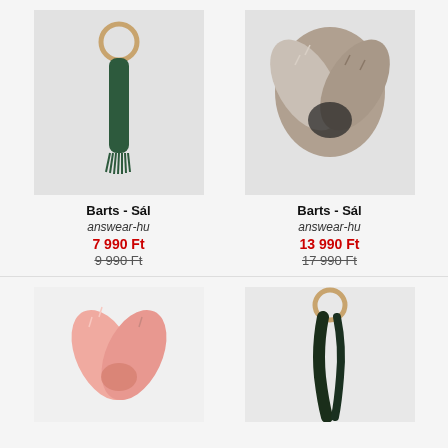[Figure (photo): Green wool scarf with fringe, displayed hanging through a wooden ring, on light grey background]
Barts - Sál
answear-hu
7 990 Ft
9 990 Ft
[Figure (photo): Grey/beige faux fur crossed scarf or neck warmer, on light grey background]
Barts - Sál
answear-hu
13 990 Ft
17 990 Ft
[Figure (photo): Pink fluffy faux fur crossed scarf or neck warmer, on white background]
[Figure (photo): Dark green/black scarf displayed hanging through a wooden ring, on light grey background]